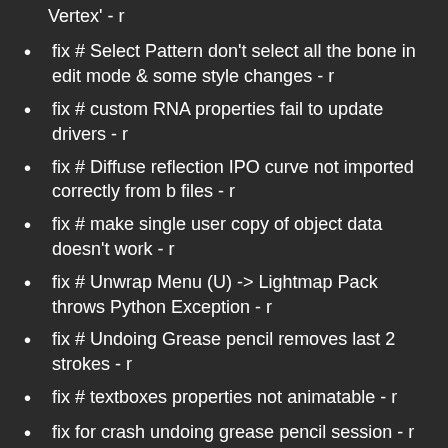Vertex' - r
fix # Select Pattern don't select all the bone in edit mode & some style changes - r
fix # custom RNA properties fail to update drivers - r
fix # Diffuse reflection IPO curve not imported correctly from b files - r
fix # make single user copy of object data doesn't work - r
fix # Unwrap Menu (U) -> Lightmap Pack throws Python Exception - r
fix # Undoing Grease pencil removes last 2 strokes - r
fix # textboxes properties not animatable - r
fix for crash undoing grease pencil session - r
allow bone transforms again for proxy'ed bones - r
corrected View Selected operator for image editor so now it works fine for images with different X and Y